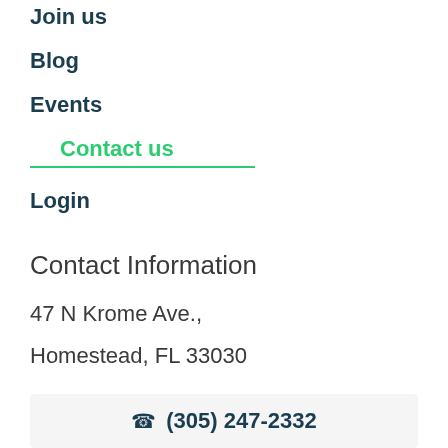Join us
Blog
Events
Contact us
Login
Contact Information
47 N Krome Ave.,
Homestead, FL 33030
(305) 247-2332